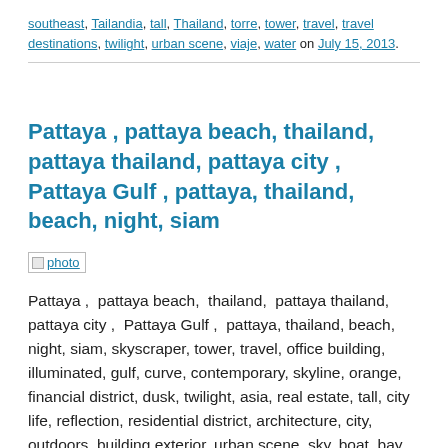southeast, Tailandia, tall, Thailand, torre, tower, travel, travel destinations, twilight, urban scene, viaje, water on July 15, 2013.
Pattaya , pattaya beach, thailand, pattaya thailand, pattaya city , Pattaya Gulf , pattaya, thailand, beach, night, siam
[Figure (photo): Photo link thumbnail placeholder labeled 'photo']
Pattaya ,  pattaya beach,  thailand,  pattaya thailand,  pattaya city ,  Pattaya Gulf ,  pattaya, thailand, beach, night, siam, skyscraper, tower, travel, office building, illuminated, gulf, curve, contemporary, skyline, orange, financial district, dusk, twilight, asia, real estate, tall, city life, reflection, residential district, architecture, city, outdoors, building exterior, urban scene, sky, boat, bay, sea, water, cloudscape, travel